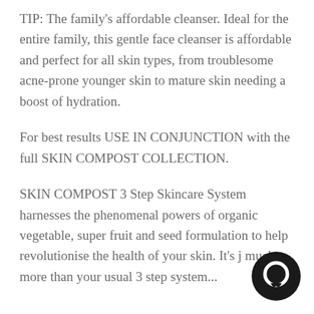TIP: The family's affordable cleanser. Ideal for the entire family, this gentle face cleanser is affordable and perfect for all skin types, from troublesome acne-prone younger skin to mature skin needing a boost of hydration.
For best results USE IN CONJUNCTION with the full SKIN COMPOST COLLECTION.
SKIN COMPOST 3 Step Skincare System harnesses the phenomenal powers of organic vegetable, super fruit and seed formulation to help revolutionise the health of your skin. It's j much more than your usual 3 step system...
[Figure (illustration): Dark circular chat/message icon in the bottom-right corner of the page]